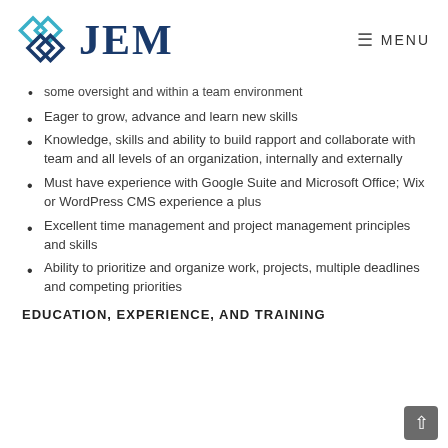JEM — MENU
some oversight and within a team environment
Eager to grow, advance and learn new skills
Knowledge, skills and ability to build rapport and collaborate with team and all levels of an organization, internally and externally
Must have experience with Google Suite and Microsoft Office; Wix or WordPress CMS experience a plus
Excellent time management and project management principles and skills
Ability to prioritize and organize work, projects, multiple deadlines and competing priorities
EDUCATION, EXPERIENCE, AND TRAINING